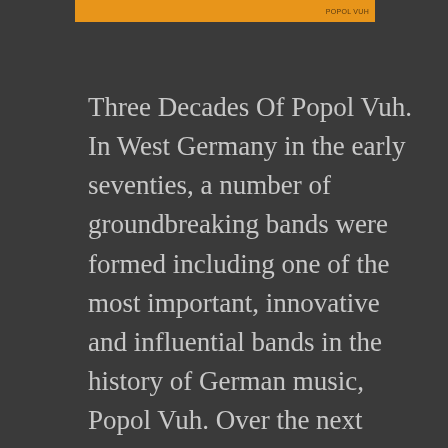Three Decades Of Popol Vuh. In West Germany in the early seventies, a number of groundbreaking bands were formed including one of the most important, innovative and influential bands in the history of German music, Popol Vuh. Over the next three decades Popol Vuh. established a reputation for releasing ambitious and innovative music that influenced the next generation of musicians. This was the case from the release of Popol Vuh's 1970 debut [...]